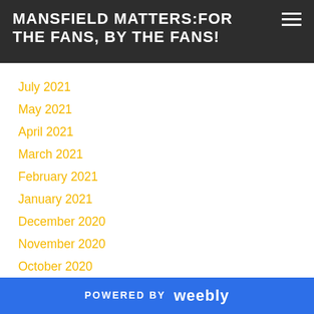MANSFIELD MATTERS:FOR THE FANS, BY THE FANS!
July 2021
May 2021
April 2021
March 2021
February 2021
January 2021
December 2020
November 2020
October 2020
September 2020
August 2020
March 2020
February 2020
January 2020
POWERED BY weebly